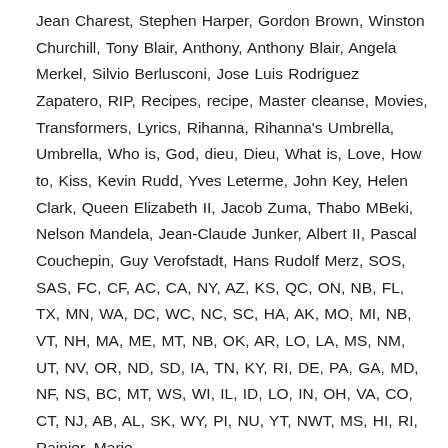Jean Charest, Stephen Harper, Gordon Brown, Winston Churchill, Tony Blair, Anthony, Anthony Blair, Angela Merkel, Silvio Berlusconi, Jose Luis Rodriguez Zapatero, RIP, Recipes, recipe, Master cleanse, Movies, Transformers, Lyrics, Rihanna, Rihanna's Umbrella, Umbrella, Who is, God, dieu, Dieu, What is, Love, How to, Kiss, Kevin Rudd, Yves Leterme, John Key, Helen Clark, Queen Elizabeth II, Jacob Zuma, Thabo MBeki, Nelson Mandela, Jean-Claude Junker, Albert II, Pascal Couchepin, Guy Verofstadt, Hans Rudolf Merz, SOS, SAS, FC, CF, AC, CA, NY, AZ, KS, QC, ON, NB, FL, TX, MN, WA, DC, WC, NC, SC, HA, AK, MO, MI, NB, VT, NH, MA, ME, MT, NB, OK, AR, LO, LA, MS, NM, UT, NV, OR, ND, SD, IA, TN, KY, RI, DE, PA, GA, MD, NF, NS, BC, MT, WS, WI, IL, ID, LO, IN, OH, VA, CO, CT, NJ, AB, AL, SK, WY, PI, NU, YT, NWT, MS, HI, RI, Rainier, Marie